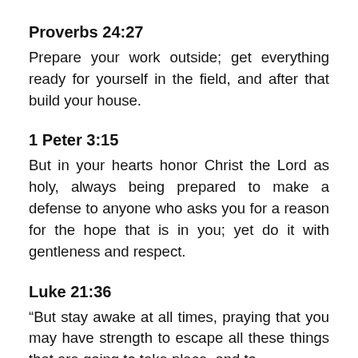Proverbs 24:27
Prepare your work outside; get everything ready for yourself in the field, and after that build your house.
1 Peter 3:15
But in your hearts honor Christ the Lord as holy, always being prepared to make a defense to anyone who asks you for a reason for the hope that is in you; yet do it with gentleness and respect.
Luke 21:36
“But stay awake at all times, praying that you may have strength to escape all these things that are going to take place, and to